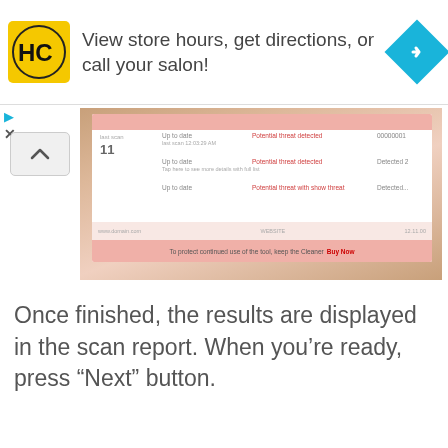[Figure (screenshot): Advertisement banner: HC logo (yellow), text 'View store hours, get directions, or call your salon!', blue diamond navigation icon, with small play and close controls below]
[Figure (screenshot): A scan report UI screenshot showing a calendar/list view with rows of entries, pink header/footer bars, on a sandy/ocean background]
Once finished, the results are displayed in the scan report. When you’re ready, press “Next” button.